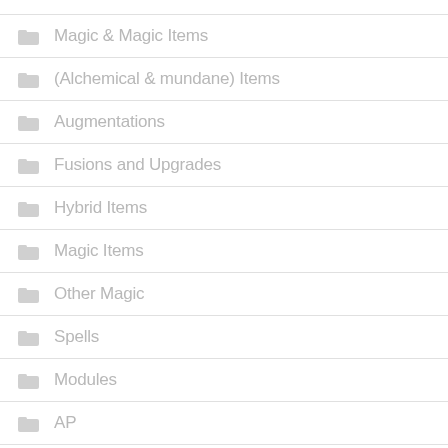Magic & Magic Items
(Alchemical & mundane) Items
Augmentations
Fusions and Upgrades
Hybrid Items
Magic Items
Other Magic
Spells
Modules
AP